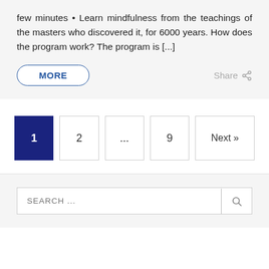few minutes • Learn mindfulness from the teachings of the masters who discovered it, for 6000 years. How does the program work? The program is [...]
MORE
Share
1  2  ...  9  Next »
SEARCH ...